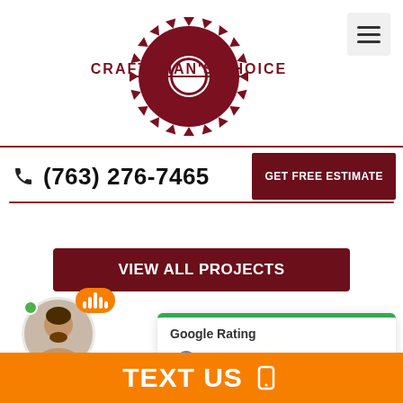[Figure (logo): Craftsman's Choice Inc. circular saw blade logo with company name]
[Figure (other): Hamburger menu icon (three horizontal lines) in light gray box]
(763) 276-7465
GET FREE ESTIMATE
VIEW ALL PROJECTS
[Figure (photo): Online agent avatar: man smiling with green online dot and orange speech bubble with bars, labeled 'Online Agent']
[Figure (other): Google Rating card showing 4.9 stars based on 110 reviews]
TEXT US